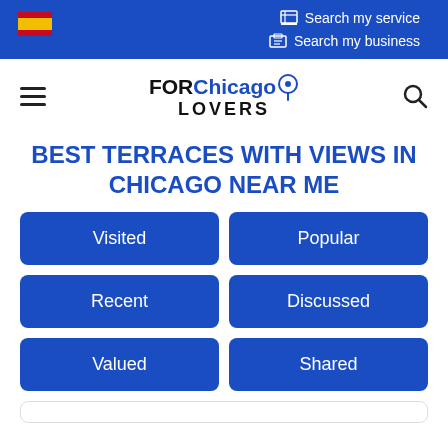Search my service | Search my business
[Figure (logo): FORChicago LOVERS logo with map pin icon and hamburger menu and search icon]
BEST TERRACES WITH VIEWS IN CHICAGO NEAR ME
Visited
Popular
Recent
Discussed
Valued
Shared